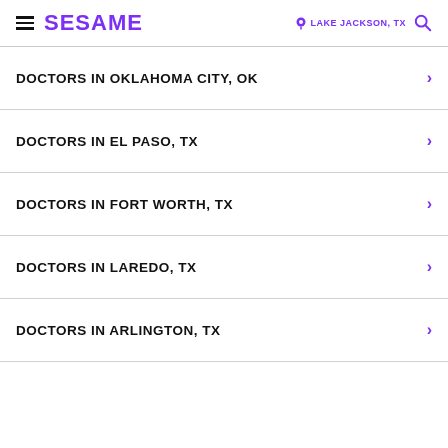SESAME | LAKE JACKSON, TX
DOCTORS IN OKLAHOMA CITY, OK
DOCTORS IN EL PASO, TX
DOCTORS IN FORT WORTH, TX
DOCTORS IN LAREDO, TX
DOCTORS IN ARLINGTON, TX